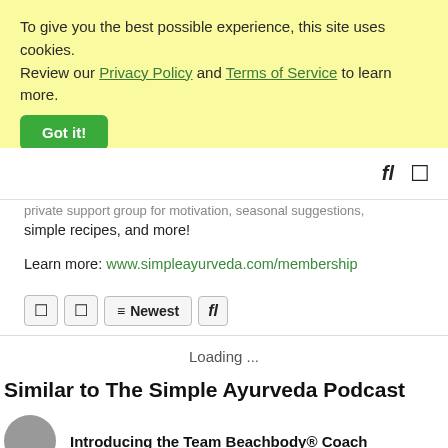To give you the best possible experience, this site uses cookies. Review our Privacy Policy and Terms of Service to learn more.
Got it!
[Figure (screenshot): Navigation bar icons: search and menu/bookmark icon at top right]
private support group for motivation, seasonal suggestions, simple recipes, and more!
Learn more: www.simpleayurveda.com/membership
Sort/filter bar with view toggle buttons and Newest dropdown
Loading ...
Similar to The Simple Ayurveda Podcast
Introducing the Team Beachbody® Coach